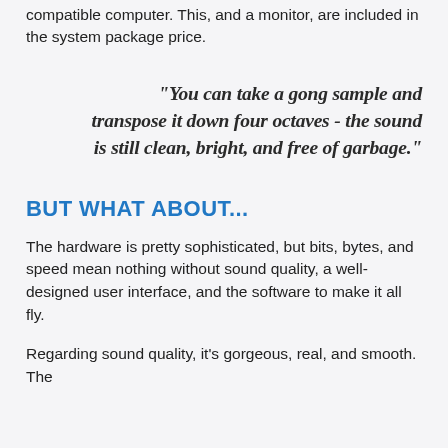compatible computer. This, and a monitor, are included in the system package price.
"You can take a gong sample and transpose it down four octaves - the sound is still clean, bright, and free of garbage."
BUT WHAT ABOUT...
The hardware is pretty sophisticated, but bits, bytes, and speed mean nothing without sound quality, a well-designed user interface, and the software to make it all fly.
Regarding sound quality, it's gorgeous, real, and smooth. The